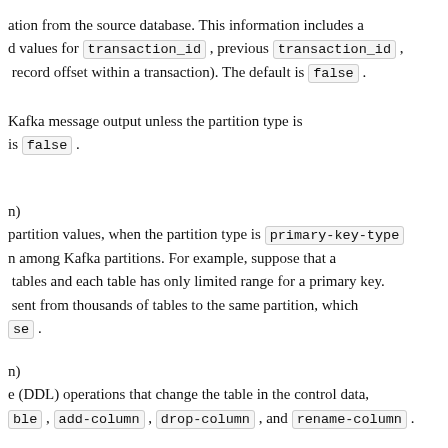ation from the source database. This information includes a d values for transaction_id , previous transaction_id , record offset within a transaction). The default is false .
Kafka message output unless the partition type is is false .
n) partition values, when the partition type is primary-key-type n among Kafka partitions. For example, suppose that a tables and each table has only limited range for a primary key. sent from thousands of tables to the same partition, which se .
n) e (DDL) operations that change the table in the control data, ble , add-column , drop-column , and rename-column .